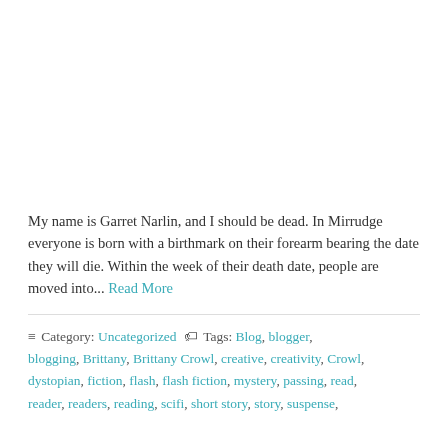My name is Garret Narlin, and I should be dead. In Mirrudge everyone is born with a birthmark on their forearm bearing the date they will die. Within the week of their death date, people are moved into... Read More
≡ Category: Uncategorized 🏷 Tags: Blog, blogger, blogging, Brittany, Brittany Crowl, creative, creativity, Crowl, dystopian, fiction, flash, flash fiction, mystery, passing, read, reader, readers, reading, scifi, short story, story, suspense,